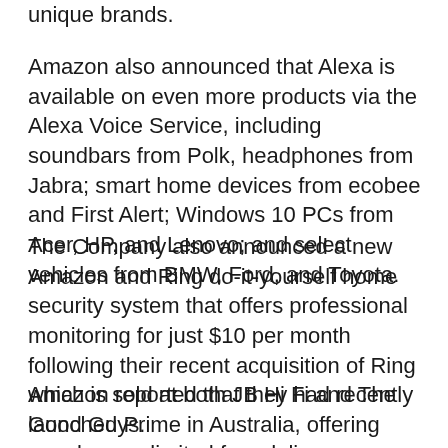unique brands.
Amazon also announced that Alexa is available on even more products via the Alexa Voice Service, including soundbars from Polk, headphones from Jabra; smart home devices from ecobee and First Alert; Windows 10 PCs from Acer, HP, and Lenovo; and select vehicles from BMW, Ford, and Toyota.
The Company also announced a new Amazon and Ring do-it-yourself home security system that offers professional monitoring for just $10 per month following their recent acquisition of Ring which is sold at both JB Hi Fi and The Good Guys.
Amazon reported that they had recently launched Prime in Australia, offering members unlimited free delivery on millions of local and international items, Prime Video